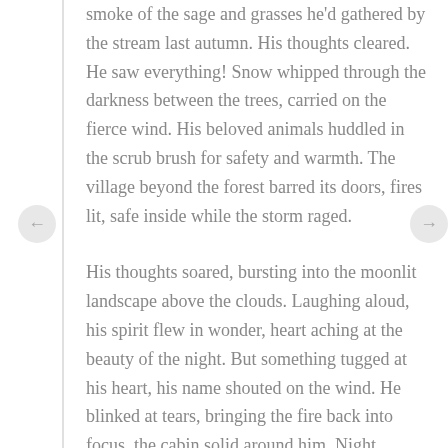smoke of the sage and grasses he'd gathered by the stream last autumn. His thoughts cleared. He saw everything! Snow whipped through the darkness between the trees, carried on the fierce wind. His beloved animals huddled in the scrub brush for safety and warmth. The village beyond the forest barred its doors, fires lit, safe inside while the storm raged.
His thoughts soared, bursting into the moonlit landscape above the clouds. Laughing aloud, his spirit flew in wonder, heart aching at the beauty of the night. But something tugged at his heart, his name shouted on the wind. He blinked at tears, bringing the fire back into focus, the cabin solid around him. Night pressed on the shuttered windows. Something was in the night...